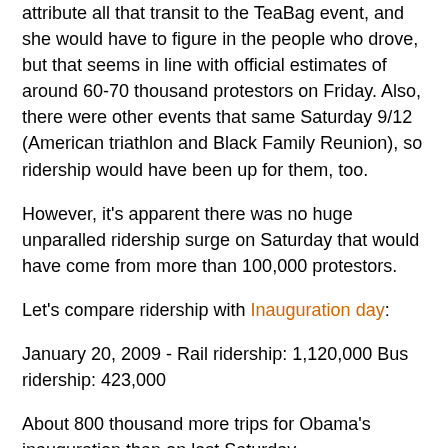attribute all that transit to the TeaBag event, and she would have to figure in the people who drove, but that seems in line with official estimates of around 60-70 thousand protestors on Friday. Also, there were other events that same Saturday 9/12 (American triathlon and Black Family Reunion), so ridership would have been up for them, too.
However, it's apparent there was no huge unparalled ridership surge on Saturday that would have come from more than 100,000 protestors.
Let's compare ridership with Inauguration day:
January 20, 2009 - Rail ridership: 1,120,000 Bus ridership: 423,000
About 800 thousand more trips for Obama's inauguration than on last Saturday.
To throw in a weekend day for a comparison without weekday workers, how about the Sunday two days before inauguration?
January 18, 2009 - Rail ridership: 616,324 Bus ridership: